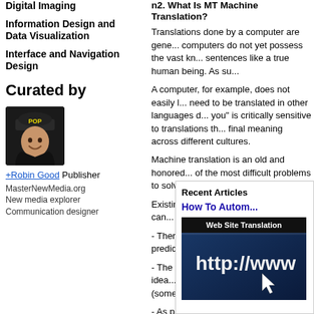Digital Imaging
Information Design and Data Visualization
Interface and Navigation Design
Curated by
[Figure (photo): Profile photo of Robin Good wearing a cap with 'POP' text]
+Robin Good Publisher
MasterNewMedia.org
New media explorer
Communication designer
n2. What Is MT Machine Translation?
Translations done by a computer are gene... computers do not yet possess the vast kn... sentences like a true human being. As su...
A computer, for example, does not easily l... need to be translated in other languages d... you" is critically sensitive to translations th... final meaning across different cultures.
Machine translation is an old and honored... of the most difficult problems to solve.
Existing machine translation systems can...
- There is a large body of very predictable...
- The final goal is to get only a rough idea... as "gisting", as it gives you (sometimes) th... is being said.
- As part of an integ... glossary/terminolog...
Systems that includ... and Workflow Tools...
SDL Int'l - http://www...
Trados - http://www...
Idiom - http://www.io...
Uniscope - http://ww...
Recent Articles
How To Autom...
[Figure (screenshot): Image of a web browser showing http://www with cursor arrow, overlaid with 'Web Site Translation' text banner]